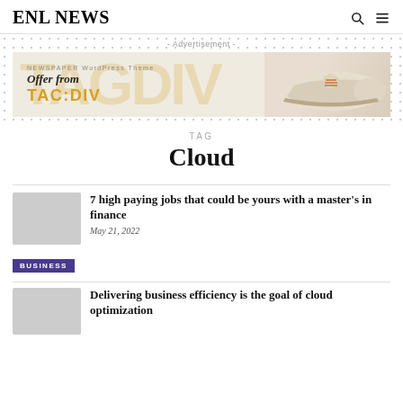ENL NEWS
[Figure (other): Advertisement banner for NEWSPAPER WordPress Theme - Offer from TAC:DIV, showing a beige sneaker shoe on the right side]
TAG
Cloud
7 high paying jobs that could be yours with a master's in finance
May 21, 2022
BUSINESS
Delivering business efficiency is the goal of cloud optimization